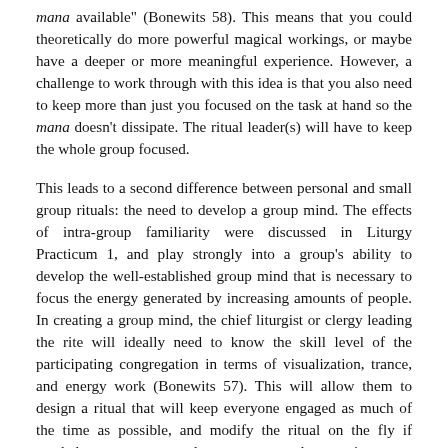mana available" (Bonewits 58). This means that you could theoretically do more powerful magical workings, or maybe have a deeper or more meaningful experience. However, a challenge to work through with this idea is that you also need to keep more than just you focused on the task at hand so the mana doesn't dissipate. The ritual leader(s) will have to keep the whole group focused.
This leads to a second difference between personal and small group rituals: the need to develop a group mind. The effects of intra-group familiarity were discussed in Liturgy Practicum 1, and play strongly into a group's ability to develop the well-established group mind that is necessary to focus the energy generated by increasing amounts of people. In creating a group mind, the chief liturgist or clergy leading the rite will ideally need to know the skill level of the participating congregation in terms of visualization, trance, and energy work (Bonewits 57). This will allow them to design a ritual that will keep everyone engaged as much of the time as possible, and modify the ritual on the fly if needed to accommodate unexpected reactions or circumstances.
This touches on a third difference between personal and small group ritual: the presence of clergy or other leadership. Bonewits'